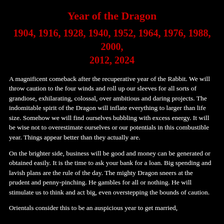Year of the Dragon
1904, 1916, 1928, 1940, 1952, 1964, 1976, 1988, 2000, 2012, 2024
A magnificent comeback after the recuperative year of the Rabbit. We will throw caution to the four winds and roll up our sleeves for all sorts of grandiose, exhilarating, colossal, over ambitious and daring projects. The indomitable spirit of the Dragon will inflate everything to larger than life size. Somehow we will find ourselves bubbling with excess energy. It will be wise not to overestimate ourselves or our potentials in this combustible year. Things appear better than they actually are.
On the brighter side, business will be good and money can be generated or obtained easily. It is the time to ask your bank for a loan. Big spending and lavish plans are the rule of the day. The mighty Dragon sneers at the prudent and penny-pinching. He gambles for all or nothing. He will stimulate us to think and act big, even overstepping the bounds of caution.
Orientals consider this to be an auspicious year to get married,